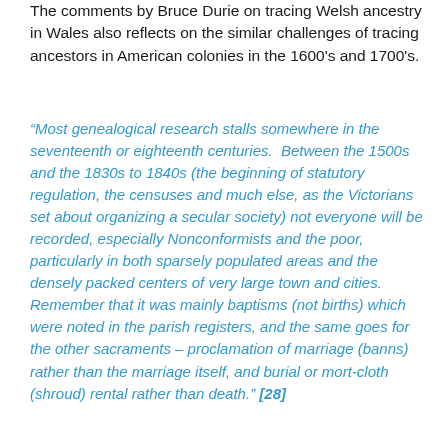The comments by Bruce Durie on tracing Welsh ancestry in Wales also reflects on the similar challenges of tracing ancestors in American colonies in the 1600's and 1700's.
“Most genealogical research stalls somewhere in the seventeenth or eighteenth centuries.  Between the 1500s and the 1830s to 1840s (the beginning of statutory regulation, the censuses and much else, as the Victorians set about organizing a secular society) not everyone will be recorded, especially Nonconformists and the poor, particularly in both sparsely populated areas and the densely packed centers of very large town and cities.  Remember that it was mainly baptisms (not births) which were noted in the parish registers, and the same goes for the other sacraments – proclamation of marriage (banns) rather than the marriage itself, and burial or mort-cloth (shroud) rental rather than death.” [28]